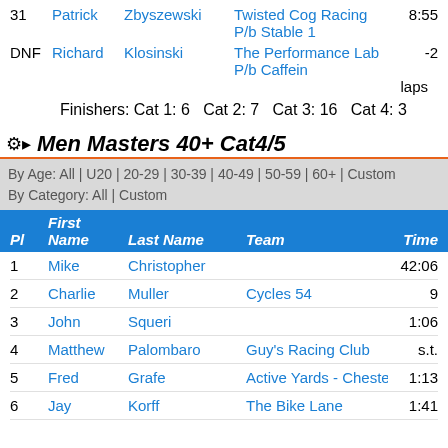| Pl | First Name | Last Name | Team | Time |
| --- | --- | --- | --- | --- |
| 31 | Patrick | Zbyszewski | Twisted Cog Racing P/b Stable 1 | 8:55 |
| DNF | Richard | Klosinski | The Performance Lab P/b Caffein | -2 laps |
Finishers: Cat 1: 6   Cat 2: 7   Cat 3: 16   Cat 4: 3
Men Masters 40+ Cat4/5
By Age: All | U20 | 20-29 | 30-39 | 40-49 | 50-59 | 60+ | Custom
By Category: All | Custom
| Pl | First Name | Last Name | Team | Time |
| --- | --- | --- | --- | --- |
| 1 | Mike | Christopher |  | 42:06 |
| 2 | Charlie | Muller | Cycles 54 | 9 |
| 3 | John | Squeri |  | 1:06 |
| 4 | Matthew | Palombaro | Guy's Racing Club | s.t. |
| 5 | Fred | Grafe | Active Yards - Chester County V | 1:13 |
| 6 | Jay | Korff | The Bike Lane | 1:41 |